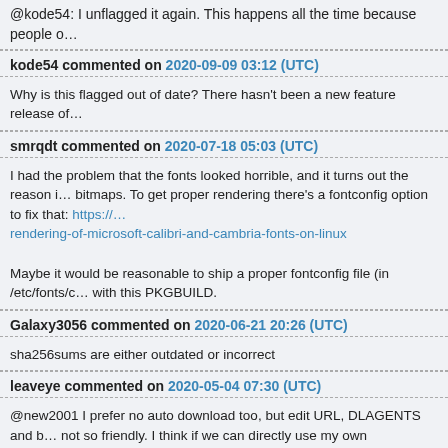@kode54: I unflagged it again. This happens all the time because people o…
kode54 commented on 2020-09-09 03:12 (UTC)
Why is this flagged out of date? There hasn't been a new feature release of…
smrqdt commented on 2020-07-18 05:03 (UTC)
I had the problem that the fonts looked horrible, and it turns out the reason i… bitmaps. To get proper rendering there's a fontconfig option to fix that: https://… rendering-of-microsoft-calibri-and-cambria-fonts-on-linux

Maybe it would be reasonable to ship a proper fontconfig file (in /etc/fonts/c… with this PKGBUILD.
Galaxy3056 commented on 2020-06-21 20:26 (UTC)
sha256sums are either outdated or incorrect
leaveye commented on 2020-05-04 07:30 (UTC)
@new2001 I prefer no auto download too, but edit URL, DLAGENTS and b… not so friendly. I think if we can directly use my own .iso/.wim/windows-path… function, it would be better.
neo2001 commented on 2020-05-01 14:08 (UTC)